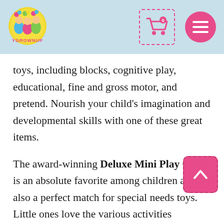[Figure (logo): ToyGrowUp logo with colorful cartoon children and yellow circle, with colorful text 'YGROWNUP']
toys, including blocks, cognitive play, educational, fine and gross motor, and pretend. Nourish your child’s imagination and developmental skills with one of these great items.
The award-winning Deluxe Mini Play Cube is an absolute favorite among children and is also a perfect match for special needs toys. Little ones love the various activities available that provide hours of engaging and intriguing play. It features 5 popular toys in one: the Mini Roller coaster,